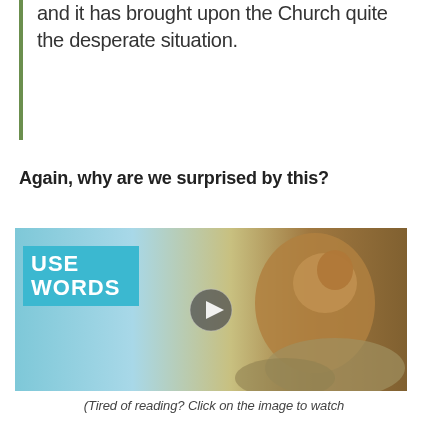and it has brought upon the Church quite the desperate situation.
Again, why are we surprised by this?
[Figure (screenshot): Video thumbnail showing a prairie dog or similar animal on a rock next to a teal/blue sign with white text reading 'USE WORDS', with a play button overlay in the center.]
(Tired of reading? Click on the image to watch the video.)